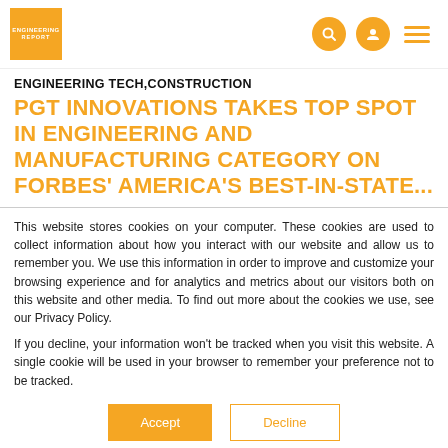ENGINEERING REPORT — logo with nav icons
ENGINEERING TECH,CONSTRUCTION
PGT INNOVATIONS TAKES TOP SPOT IN ENGINEERING AND MANUFACTURING CATEGORY ON FORBES' AMERICA'S BEST-IN-STATE...
This website stores cookies on your computer. These cookies are used to collect information about how you interact with our website and allow us to remember you. We use this information in order to improve and customize your browsing experience and for analytics and metrics about our visitors both on this website and other media. To find out more about the cookies we use, see our Privacy Policy.
If you decline, your information won't be tracked when you visit this website. A single cookie will be used in your browser to remember your preference not to be tracked.